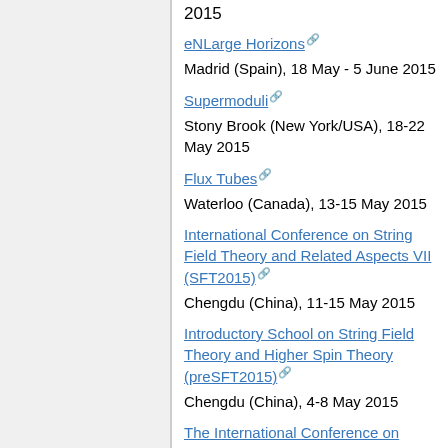2015
eNLarge Horizons [external link]
Madrid (Spain), 18 May - 5 June 2015
Supermoduli [external link]
Stony Brook (New York/USA), 18-22 May 2015
Flux Tubes [external link]
Waterloo (Canada), 13-15 May 2015
International Conference on String Field Theory and Related Aspects VII (SFT2015) [external link]
Chengdu (China), 11-15 May 2015
Introductory School on String Field Theory and Higher Spin Theory (preSFT2015) [external link]
Chengdu (China), 4-8 May 2015
The International Conference on Gravitation and Cosmology/The Fourth